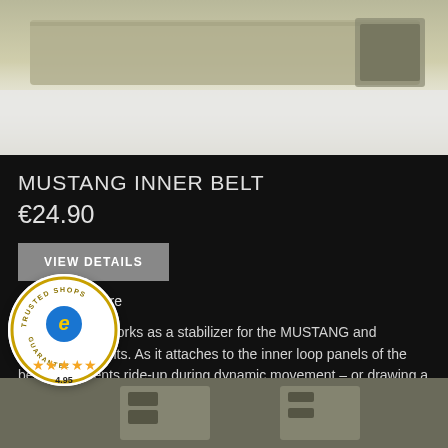[Figure (photo): Top portion of a military-style inner belt product photo, olive/tan colored belt with buckle on dark/white background]
MUSTANG INNER BELT
€24.90
VIEW DETAILS
Add to Compare
Our inner belt works as a stabilizer for the MUSTANG and MOSQUITO belts. As it attaches to the inner loop panels of the belts, it prevents ride-up during dynamic movement – or drawing a pistol from a holster. Learn More
[Figure (logo): Trusted Shops guarantee badge with e logo, 4 gold stars, and rating 4.95]
[Figure (photo): Bottom portion showing product image of belt buckle details, olive/tan color]